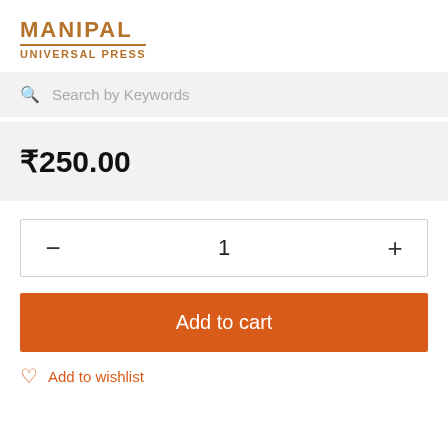[Figure (logo): Manipal Universal Press logo with text MANIPAL on top in large bold letters and UNIVERSAL PRESS below, brown/orange colored with underline]
Search by Keywords
₹250.00
1
Add to cart
Add to wishlist